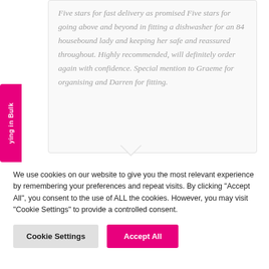Five stars for fast delivery as promised Five stars for going above and beyond in fitting a dishwasher for an 84 housebound lady and keeping her safe and reassured throughout. Highly recommended, will definitely order again with confidence. Special mention to Graeme for organising and Darren for fitting.
ying in Bulk
We use cookies on our website to give you the most relevant experience by remembering your preferences and repeat visits. By clicking "Accept All", you consent to the use of ALL the cookies. However, you may visit "Cookie Settings" to provide a controlled consent.